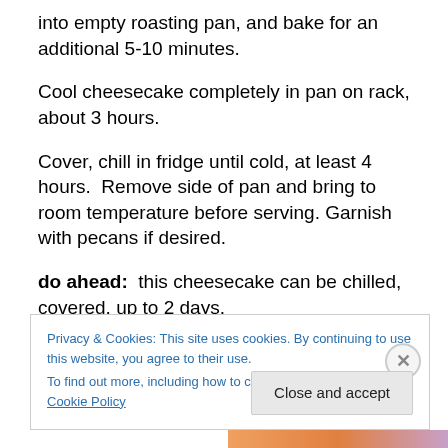into empty roasting pan, and bake for an additional 5-10 minutes.
Cool cheesecake completely in pan on rack, about 3 hours.
Cover, chill in fridge until cold, at least 4 hours.  Remove side of pan and bring to room temperature before serving. Garnish with pecans if desired.
do ahead:  this cheesecake can be chilled, covered, up to 2 days.
Privacy & Cookies: This site uses cookies. By continuing to use this website, you agree to their use.
To find out more, including how to control cookies, see here: Cookie Policy